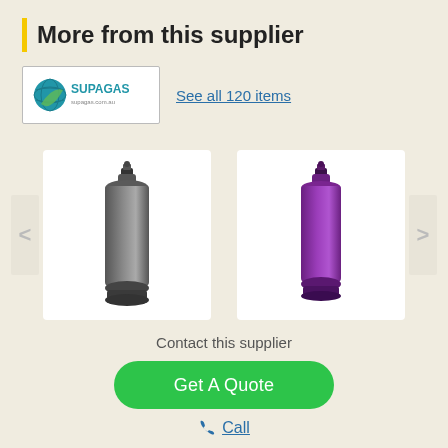More from this supplier
[Figure (logo): Supagas supplier logo with globe icon]
See all 120 items
[Figure (photo): Dark grey industrial gas cylinder]
[Figure (photo): Purple industrial gas cylinder]
Contact this supplier
Get A Quote
Call